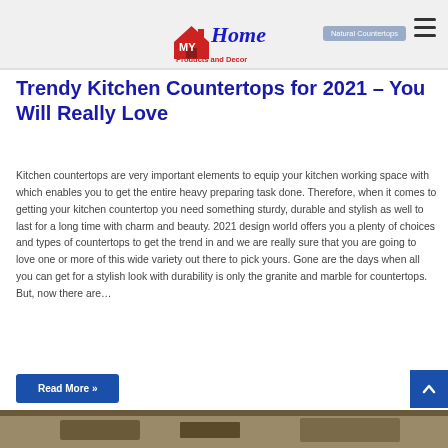[Figure (logo): My Home Products and Decor logo with red house icon and blue/red text]
Trendy Kitchen Countertops for 2021 – You Will Really Love
Kitchen countertops are very important elements to equip your kitchen working space with which enables you to get the entire heavy preparing task done. Therefore, when it comes to getting your kitchen countertop you need something sturdy, durable and stylish as well to last for a long time with charm and beauty. 2021 design world offers you a plenty of choices and types of countertops to get the trend in and we are really sure that you are going to love one or more of this wide variety out there to pick yours. Gone are the days when all you can get for a stylish look with durability is only the granite and marble for countertops. But, now there are…
Read More »
[Figure (photo): Bottom portion of a kitchen countertop photo, partially visible]